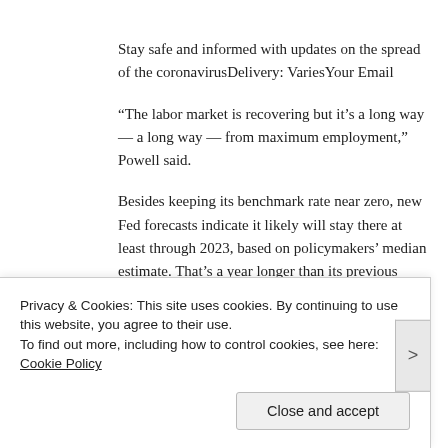Stay safe and informed with updates on the spread of the coronavirusDelivery: VariesYour Email
“The labor market is recovering but it’s a long way — a long way — from maximum employment,” Powell said.
Besides keeping its benchmark rate near zero, new Fed forecasts indicate it likely will stay there at least through 2023, based on policymakers’ median estimate. That’s a year longer than its previous estimate since the Fed’s forecast horizon was
Privacy & Cookies: This site uses cookies. By continuing to use this website, you agree to their use.
To find out more, including how to control cookies, see here: Cookie Policy
Close and accept